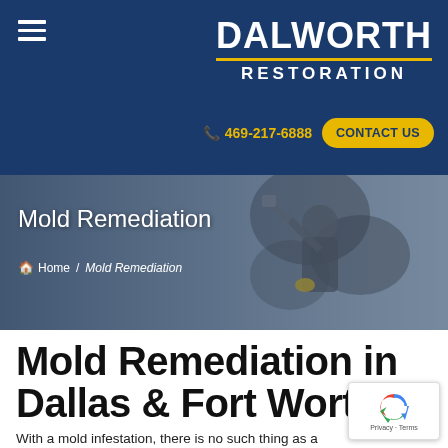[Figure (logo): Dalworth Restoration logo with hamburger menu icon on dark navy blue navigation bar]
469-217-6888  CONTACT US
[Figure (photo): Worker in protective gear and yellow gloves using a brush on a mold-covered wall, shown in the hero banner background]
Mold Remediation
Home /Mold Remediation
Mold Remediation in Dallas & Fort Worth
With a mold infestation, there is no such thing as a concern. There is no time to waste, either. You must take